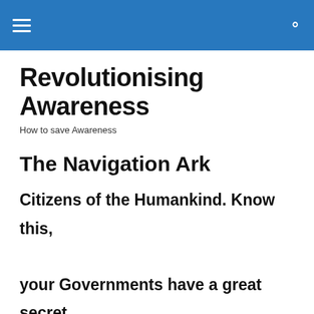≡  🔍
Revolutionising Awareness
How to save Awareness
The Navigation Ark
Citizens of the Humankind. Know this, your Governments have a great secret, our presence has been withheld from you. We have lived amongst you all the